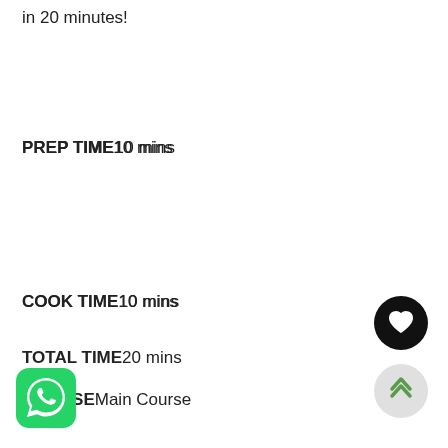in 20 minutes!
PREP TIME10 mins
COOK TIME10 mins
TOTAL TIME20 mins
COURSEMain Course
[Figure (logo): WhatsApp green rounded square icon with white phone handset]
[Figure (other): Black circular button with white heart icon]
[Figure (other): Light gray circular button with green double chevron up arrow]